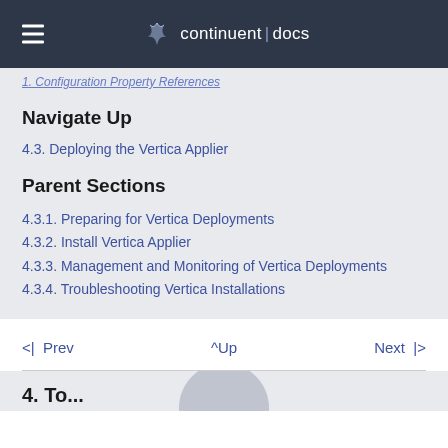continuent | docs
1. Configuration Property References
Navigate Up
4.3. Deploying the Vertica Applier
Parent Sections
4.3.1. Preparing for Vertica Deployments
4.3.2. Install Vertica Applier
4.3.3. Management and Monitoring of Vertica Deployments
4.3.4. Troubleshooting Vertica Installations
<| Prev   ^Up   Next |>